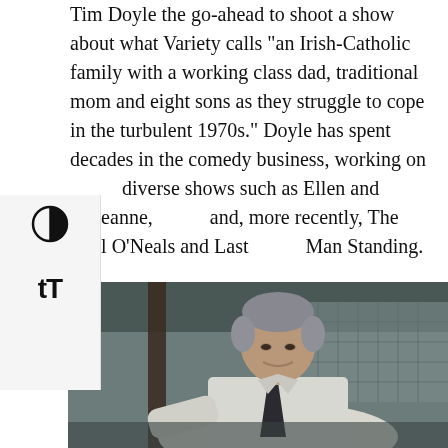Tim Doyle the go-ahead to shoot a show about what Variety calls “an Irish-Catholic family with a working class dad, traditional mom and eight sons as they struggle to cope in the turbulent 1970s.” Doyle has spent decades in the comedy business, working on diverse shows such as Ellen and Roseanne, and, more recently, The Real O’Neals and Last Man Standing.
[Figure (photo): A middle-aged man with short grey hair wearing a white dress shirt and dark tie, leaning forward, photographed in an industrial or warehouse-like setting with chain-link fencing visible in the background.]